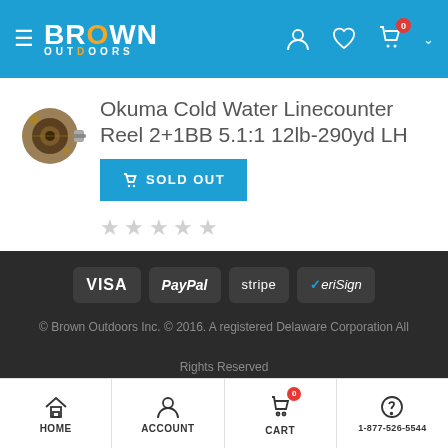Brown Outdoors
Okuma Cold Water Linecounter Reel 2+1BB 5.1:1 12lb-290yd LH
[Figure (photo): Okuma fishing reel product image thumbnail]
SOLD OUT
★★★★★ (empty stars rating)
[Figure (infographic): Payment method logos: VISA, PayPal, stripe, VeriSign]
© Brown Outdoors Inc. © 2016. A registered Delaware Corporation All Rights Reserved
HOME | ACCOUNT | CART | 1-877-526-5544